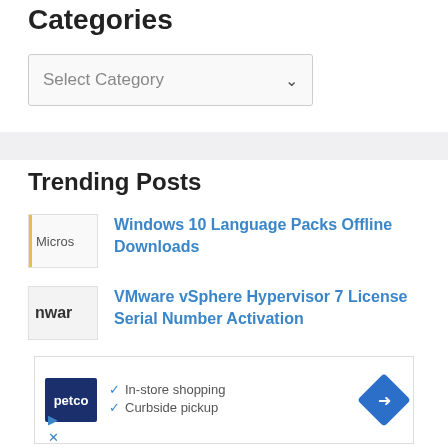Categories
Select Category
Trending Posts
Windows 10 Language Packs Offline Downloads
VMware vSphere Hypervisor 7 License Serial Number Activation
[Figure (other): Advertisement banner from Petco showing In-store shopping and Curbside pickup with checkmarks and a direction arrow icon]